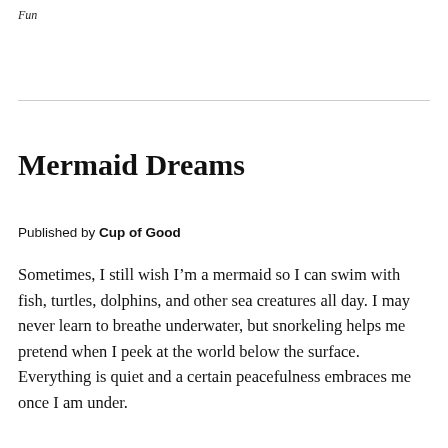Fun
Mermaid Dreams
Published by Cup of Good
Sometimes, I still wish I’m a mermaid so I can swim with fish, turtles, dolphins, and other sea creatures all day. I may never learn to breathe underwater, but snorkeling helps me pretend when I peek at the world below the surface. Everything is quiet and a certain peacefulness embraces me once I am under.